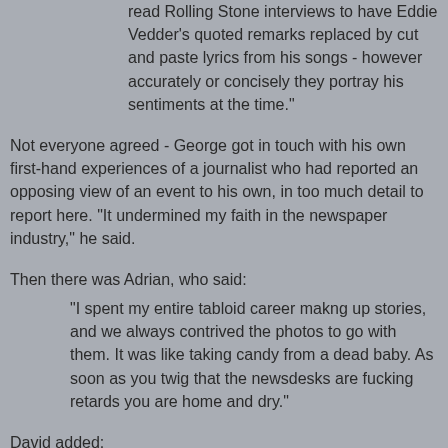read Rolling Stone interviews to have Eddie Vedder's quoted remarks replaced by cut and paste lyrics from his songs - however accurately or concisely they portray his sentiments at the time."
Not everyone agreed - George got in touch with his own first-hand experiences of a journalist who had reported an opposing view of an event to his own, in too much detail to report here. "It undermined my faith in the newspaper industry," he said.
Then there was Adrian, who said:
"I spent my entire tabloid career makng up stories, and we always contrived the photos to go with them. It was like taking candy from a dead baby. As soon as you twig that the newsdesks are fucking retards you are home and dry."
David added:
"I've watched a well known BBC Radio journalist